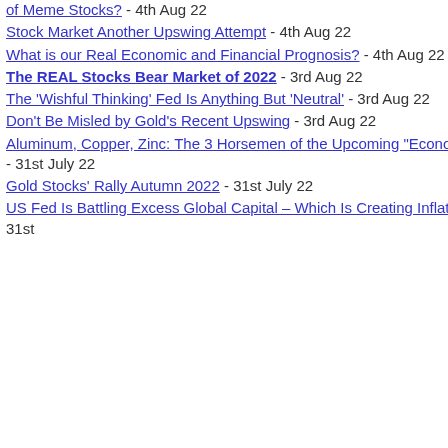of Meme Stocks? - 4th Aug 22
Stock Market Another Upswing Attempt - 4th Aug 22
What is our Real Economic and Financial Prognosis? - 4th Aug 22
The REAL Stocks Bear Market of 2022 - 3rd Aug 22
The 'Wishful Thinking' Fed Is Anything But 'Neutral' - 3rd Aug 22
Don't Be Misled by Gold's Recent Upswing - 3rd Aug 22
Aluminum, Copper, Zinc: The 3 Horsemen of the Upcoming "Econocalypse" - 31st July 22
Gold Stocks' Rally Autumn 2022 - 31st July 22
US Fed Is Battling Excess Global Capital – Which Is Creating Inflation - 31st
Britain's Inflationary Debt Spiral a Bank of England Keeps Expanding Quantitative Easing / Economics / Debt
By: Nadeem_Walayat
Over the coming years we will witness systematic destruction of the British pound as witnessed through the inflation, commodity / asset price data as the UK Mega-trend starts to unfold following price destruction induced Deflatio...
Read full article...
Wednesday, December 02, 2009
Dubai World a Debt Fuelled Miracle in the Desert / Economics / Global Financial Crisis
By: John_Browne